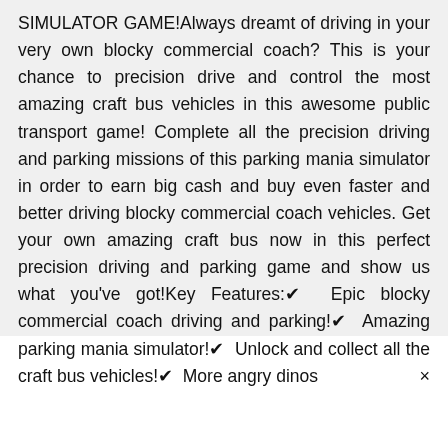SIMULATOR GAME!Always dreamt of driving in your very own blocky commercial coach? This is your chance to precision drive and control the most amazing craft bus vehicles in this awesome public transport game! Complete all the precision driving and parking missions of this parking mania simulator in order to earn big cash and buy even faster and better driving blocky commercial coach vehicles. Get your own amazing craft bus now in this perfect precision driving and parking game and show us what you've got!Key Features:✔ Epic blocky commercial coach driving and parking!✔ Amazing parking mania simulator!✔ Unlock and collect all the craft bus vehicles!✔ More angry dinos ×